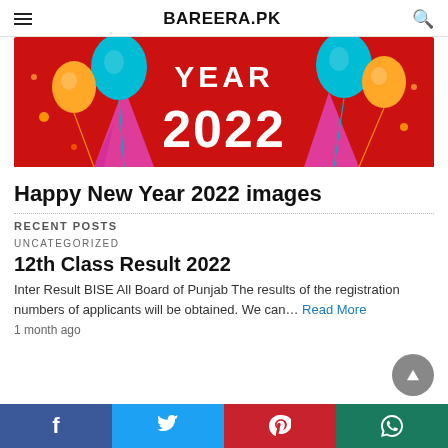BAREERA.PK
[Figure (illustration): Red banner with 'YEAR 2022' text in white, decorated with colorful balloons and party hats]
Happy New Year 2022 images
RECENT POSTS
UNCATEGORIZED
12th Class Result 2022
Inter Result BISE All Board of Punjab The results of the registration numbers of applicants will be obtained. We can… Read More
1 month ago